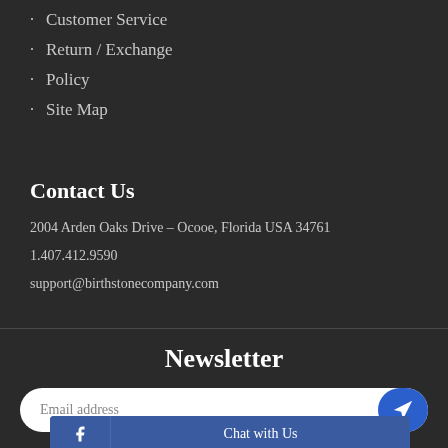Customer Service
Return / Exchange
Policy
Site Map
Contact Us
2004 Arden Oaks Drive – Ocooe, Florida USA 34761
1.407.412.9590
support@birthstonecompany.com
Newsletter
Email address
Chat with Us